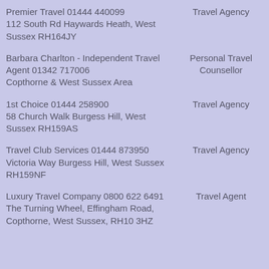Premier Travel 01444 440099
112 South Rd Haywards Heath, West Sussex RH164JY
Barbara Charlton - Independent Travel Agent 01342 717006
Copthorne & West Sussex Area
1st Choice 01444 258900
58 Church Walk Burgess Hill, West Sussex RH159AS
Travel Club Services 01444 873950
Victoria Way Burgess Hill, West Sussex RH159NF
Luxury Travel Company 0800 622 6491
The Turning Wheel, Effingham Road, Copthorne, West Sussex, RH10 3HZ